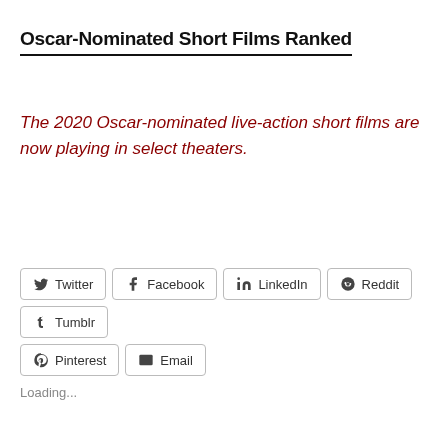Oscar-Nominated Short Films Ranked
The 2020 Oscar-nominated live-action short films are now playing in select theaters.
Twitter Facebook LinkedIn Reddit Tumblr Pinterest Email
Loading...